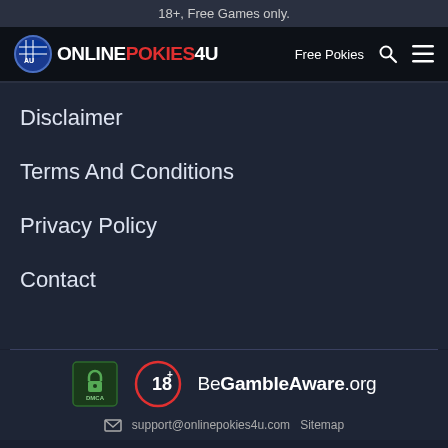18+, Free Games only.
[Figure (logo): OnlinePokies4U logo with Australian flag circle badge, navigation bar with Free Pokies link, search icon, and hamburger menu]
Disclaimer
Terms And Conditions
Privacy Policy
Contact
[Figure (infographic): Footer badges: DMCA protected badge, 18+ circle badge, BeGambleAware.org logo]
support@onlinepokies4u.com  Sitemap